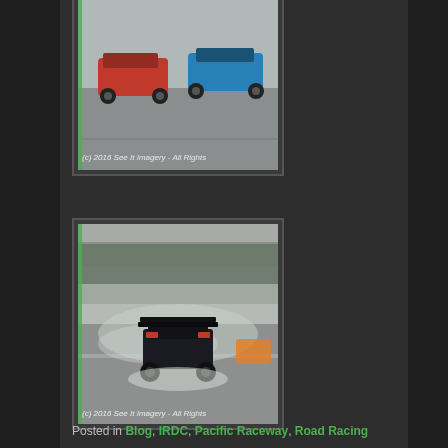[Figure (photo): Two racing cars (red and blue) on a wet track, partially visible at top of page. Watermark: (c) 2016 See It Imagery - All Rights]
[Figure (photo): A dark racing car (rear view) kicking up spray on a wet track with trees in background. Watermark: (c) 2016 See It Imagery - All Rights]
Posted in Blog, IRDC, Pacific Raceway, Road Racing
2016 IRDC Test-N-Tune at Pacific Raceways
Posted on May 13, 2016